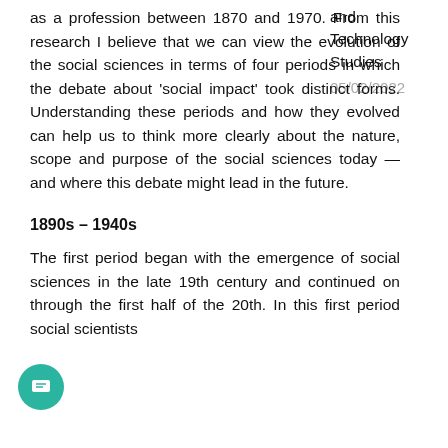as a profession between 1870 and 1970. From this research I believe that we can view the evolution of the social sciences in terms of four periods in which the debate about 'social impact' took distinct forms. Understanding these periods and how they evolved can help us to think more clearly about the nature, scope and purpose of the social sciences today — and where this debate might lead in the future.
and Technology Studies 05/02/2022
1890s – 1940s
The first period began with the emergence of social sciences in the late 19th century and continued on through the first half of the 20th. In this first period social scientists